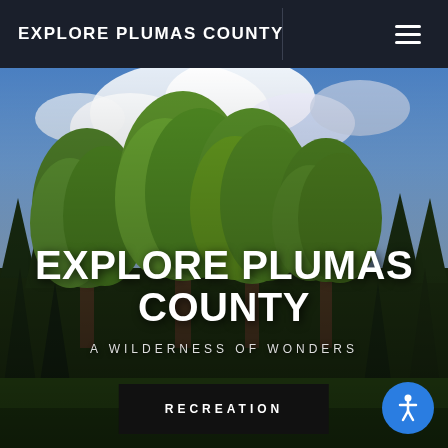EXPLORE PLUMAS COUNTY
[Figure (photo): Scenic forest landscape with tall green trees (aspens and pines) against a partly cloudy blue sky, representing Plumas County wilderness]
EXPLORE PLUMAS COUNTY
A WILDERNESS OF WONDERS
RECREATION